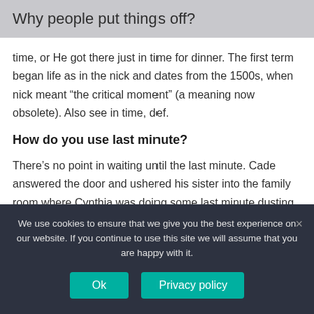Why people put things off?
time, or He got there just in time for dinner. The first term began life as in the nick and dates from the 1500s, when nick meant “the critical moment” (a meaning now obsolete). Also see in time, def.
How do you use last minute?
There’s no point in waiting until the last minute. Cade answered the door and ushered his sister into the family room where Cynthia was doing some last minute dusting. A last minute invitation was given to Howie
We use cookies to ensure that we give you the best experience on our website. If you continue to use this site we will assume that you are happy with it.